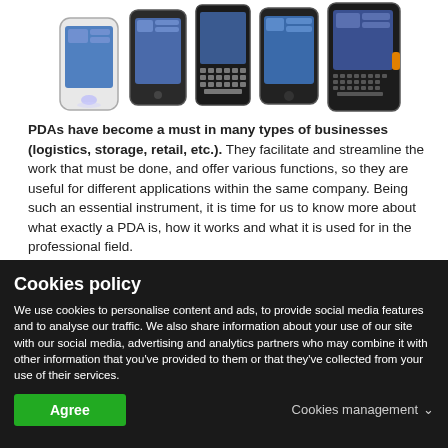[Figure (photo): Five handheld PDA/mobile devices shown from above against white background]
PDAs have become a must in many types of businesses (logistics, storage, retail, etc.). They facilitate and streamline the work that must be done, and offer various functions, so they are useful for different applications within the same company. Being such an essential instrument, it is time for us to know more about what exactly a PDA is, how it works and what it is used for in the professional field.
Cookies policy
We use cookies to personalise content and ads, to provide social media features and to analyse our traffic. We also share information about your use of our site with our social media, advertising and analytics partners who may combine it with other information that you've provided to them or that they've collected from your use of their services.
Agree   Cookies management